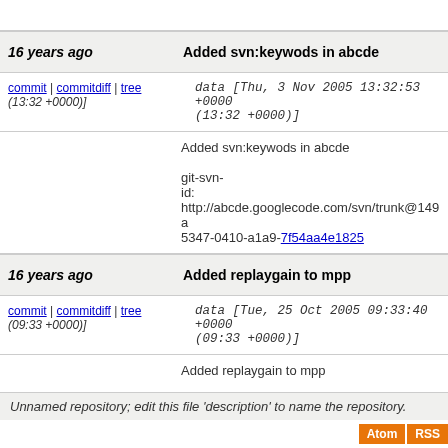16 years ago | Added svn:keywods in abcde
commit | commitdiff | tree (13:32 +0000)] data [Thu, 3 Nov 2005 13:32:53 +0000 (13:32 +0000)]
Added svn:keywods in abcde

git-svn-id: http://abcde.googlecode.com/svn/trunk@149 a5347-0410-a1a9-7f54aa4e1825
16 years ago | Added replaygain to mpp
commit | commitdiff | tree (09:33 +0000)] data [Tue, 25 Oct 2005 09:33:40 +0000 (09:33 +0000)]
Added replaygain to mpp

git-svn-id: http://abcde.googlecode.com/svn/trunk@148 a5347-0410-a1a9-7f54aa4e1825
next
Unnamed repository; edit this file 'description' to name the repository.